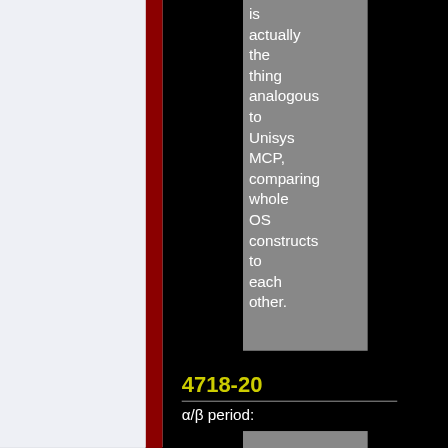is actually the thing analogous to Unisys MCP, comparing whole OS constructs to each other.
4718-20
α/β period: